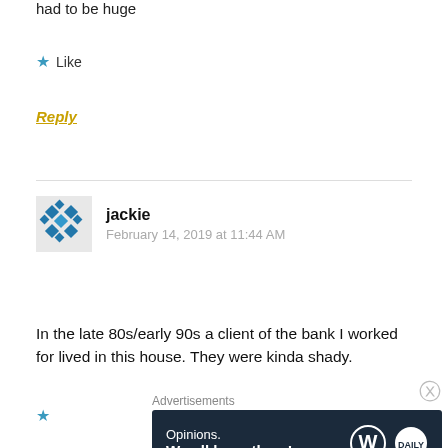had to be huge
Like
Reply
jackie
February 14, 2019 at 11:44 AM
In the late 80s/early 90s a client of the bank I worked for lived in this house. They were kinda shady.
[Figure (illustration): Wordpress/blog advertisement banner: dark navy background with text 'Opinions. We all have them!' and WordPress logo and another circular logo on the right.]